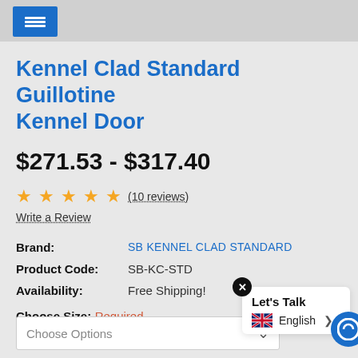Navigation menu
Kennel Clad Standard Guillotine Kennel Door
$271.53 - $317.40
★★★★★ (10 reviews)
Write a Review
| Label | Value |
| --- | --- |
| Brand: | SB KENNEL CLAD STANDARD |
| Product Code: | SB-KC-STD |
| Availability: | Free Shipping! |
Choose Size: Required
Choose Options